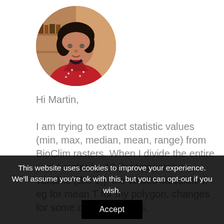[Figure (photo): Circular profile photo of a woman wearing a red jacket, dark hair, indoor background with warm tones]
Hi Martin,
I am trying to extract statistic values (min, max, median, mean, range) from BioClim rasters. When I divide the entire world raster by 10 [for temperature variable (Bio 1)], the values calculated, eg for mean T for my polygon, changes for some of the polygons.
This website uses cookies to improve your experience. We'll assume you're ok with this, but you can opt-out if you wish.
Accept